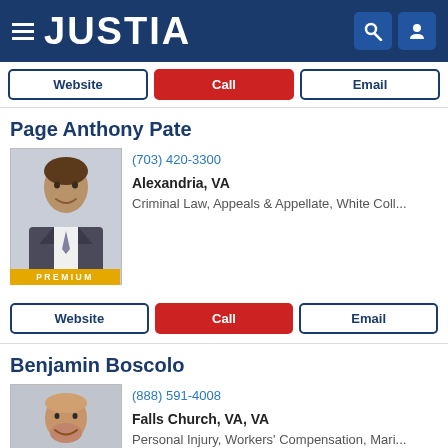JUSTIA
Website | Call | Email
Page Anthony Pate
(703) 420-3300
Alexandria, VA
Criminal Law, Appeals & Appellate, White Coll...
Website | Call | Email
Benjamin Boscolo
(888) 591-4008
Falls Church, VA, VA
Personal Injury, Workers' Compensation, Mari...